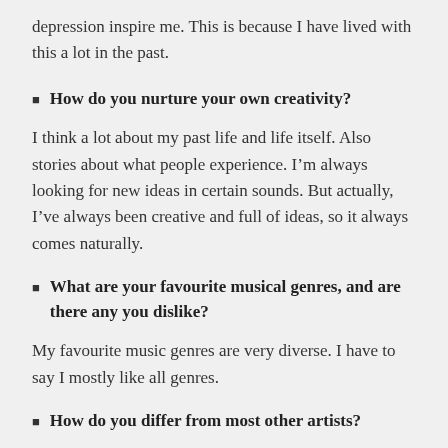depression inspire me. This is because I have lived with this a lot in the past.
How do you nurture your own creativity?
I think a lot about my past life and life itself. Also stories about what people experience. I'm always looking for new ideas in certain sounds. But actually, I've always been creative and full of ideas, so it always comes naturally.
What are your favourite musical genres, and are there any you dislike?
My favourite music genres are very diverse. I have to say I mostly like all genres.
How do you differ from most other artists?
This is a tough question. I just do what I like and where I